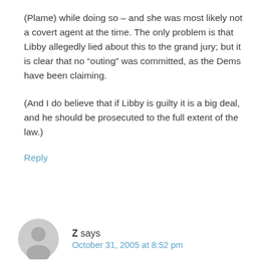(Plame) while doing so – and she was most likely not a covert agent at the time. The only problem is that Libby allegedly lied about this to the grand jury; but it is clear that no “outing” was committed, as the Dems have been claiming.
(And I do believe that if Libby is guilty it is a big deal, and he should be prosecuted to the full extent of the law.)
Reply
Z says
October 31, 2005 at 8:52 pm